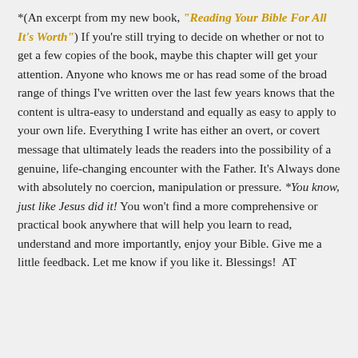*(An excerpt from my new book, "Reading Your Bible For All It's Worth") If you're still trying to decide on whether or not to get a few copies of the book, maybe this chapter will get your attention. Anyone who knows me or has read some of the broad range of things I've written over the last few years knows that the content is ultra-easy to understand and equally as easy to apply to your own life. Everything I write has either an overt, or covert message that ultimately leads the readers into the possibility of a genuine, life-changing encounter with the Father. It's Always done with absolutely no coercion, manipulation or pressure. *You know, just like Jesus did it! You won't find a more comprehensive or practical book anywhere that will help you learn to read, understand and more importantly, enjoy your Bible. Give me a little feedback. Let me know if you like it. Blessings!  AT